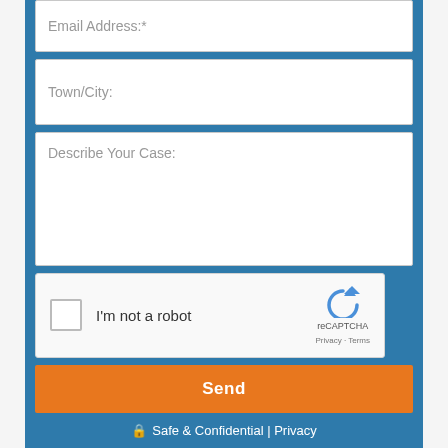Email Address:*
Town/City:
Describe Your Case:
[Figure (screenshot): reCAPTCHA widget showing checkbox 'I'm not a robot' with reCAPTCHA logo, Privacy and Terms links]
Send
Safe & Confidential | Privacy
What Our Clients Are Saying